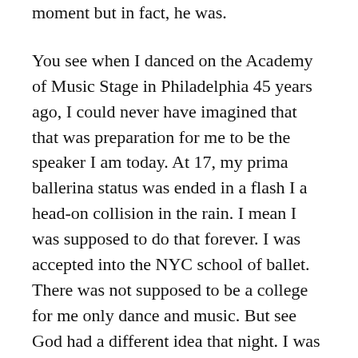moment but in fact, he was.

You see when I danced on the Academy of Music Stage in Philadelphia 45 years ago, I could never have imagined that that was preparation for me to be the speaker I am today. At 17, my prima ballerina status was ended in a flash I a head-on collision in the rain. I mean I was supposed to do that forever. I was accepted into the NYC school of ballet. There was not supposed to be a college for me only dance and music. But see God had a different idea that night. I was at one of my first major departure points in my life. See every time you leave a departure point, you feel a sense of loss but that is how you know you